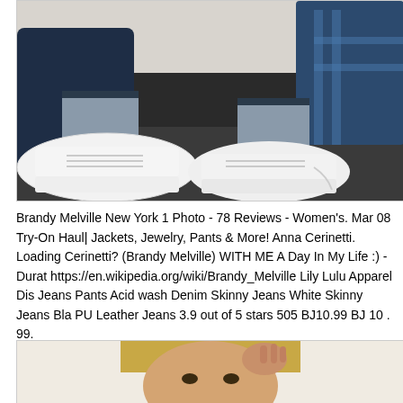[Figure (photo): Photo of a person sitting on a dark carpet floor wearing white sneakers and dark grey ankle socks, with dark jeans. The legs are extended toward the camera showing the shoes prominently.]
Brandy Melville New York 1 Photo - 78 Reviews - Women's. Mar 08 Try-On Haul| Jackets, Jewelry, Pants & More! Anna Cerinetti. Loading Cerinetti? (Brandy Melville) WITH ME A Day In My Life :) - Duration: https://en.wikipedia.org/wiki/Brandy_Melville Lily Lulu Apparel Discover Jeans Pants Acid wash Denim Skinny Jeans White Skinny Jeans Black PU Leather Jeans 3.9 out of 5 stars 505 BJ10.99 BJ 10 . 99.
[Figure (photo): Photo of a young woman with long blonde hair, touching her hair with one hand. Only the upper portion of the face and hair is visible, cropped at the bottom of the page.]